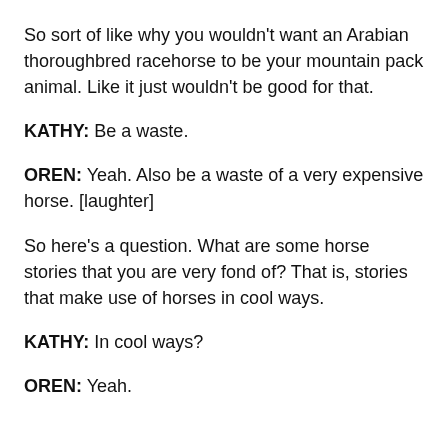So sort of like why you wouldn't want an Arabian thoroughbred racehorse to be your mountain pack animal. Like it just wouldn't be good for that.
KATHY: Be a waste.
OREN: Yeah. Also be a waste of a very expensive horse. [laughter]
So here's a question. What are some horse stories that you are very fond of? That is, stories that make use of horses in cool ways.
KATHY: In cool ways?
OREN: Yeah.